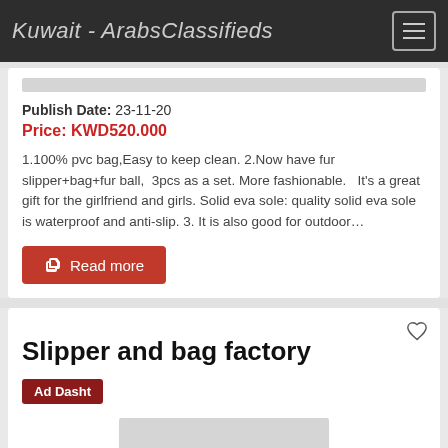Kuwait - ArabsClassifieds
Publish Date: 23-11-20
Price: KWD520.000
1.100% pvc bag,Easy to keep clean. 2.Now have fur slipper+bag+fur ball,  3pcs as a set. More fashionable.   It's a great gift for the girlfriend and girls. Solid eva sole: quality solid eva sole is waterproof and anti-slip. 3. It is also good for outdoor…
Read more
Slipper and bag factory
Ad Dasht